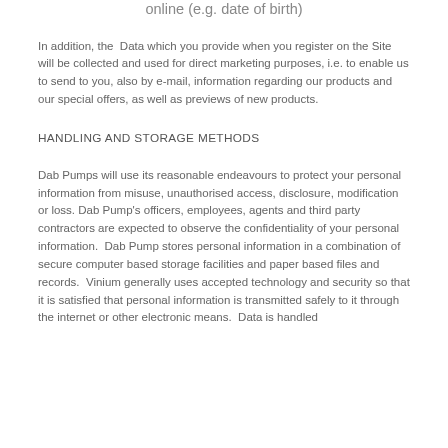online (e.g. date of birth)
In addition, the Data which you provide when you register on the Site will be collected and used for direct marketing purposes, i.e. to enable us to send to you, also by e-mail, information regarding our products and our special offers, as well as previews of new products.
HANDLING AND STORAGE METHODS
Dab Pumps will use its reasonable endeavours to protect your personal information from misuse, unauthorised access, disclosure, modification or loss. Dab Pump's officers, employees, agents and third party contractors are expected to observe the confidentiality of your personal information. Dab Pump stores personal information in a combination of secure computer based storage facilities and paper based files and records. Vinium generally uses accepted technology and security so that it is satisfied that personal information is transmitted safely to it through the internet or other electronic means. Data is handled